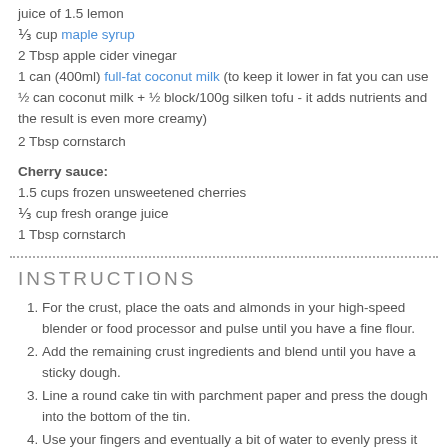juice of 1.5 lemon
⅓ cup maple syrup
2 Tbsp apple cider vinegar
1 can (400ml) full-fat coconut milk (to keep it lower in fat you can use ½ can coconut milk + ½ block/100g silken tofu - it adds nutrients and the result is even more creamy)
2 Tbsp cornstarch
Cherry sauce:
1.5 cups frozen unsweetened cherries
⅓ cup fresh orange juice
1 Tbsp cornstarch
INSTRUCTIONS
For the crust, place the oats and almonds in your high-speed blender or food processor and pulse until you have a fine flour.
Add the remaining crust ingredients and blend until you have a sticky dough.
Line a round cake tin with parchment paper and press the dough into the bottom of the tin.
Use your fingers and eventually a bit of water to evenly press it down and put in the fridge to chill.
Preheat the oven to 160°C/320°F.
Prepare the filling by simply adding all ingredients to the blender and mixing on medium speed until smooth (use your tamper tool to mash it down).
Once smooth, pour the filling over the crust and place in the oven for